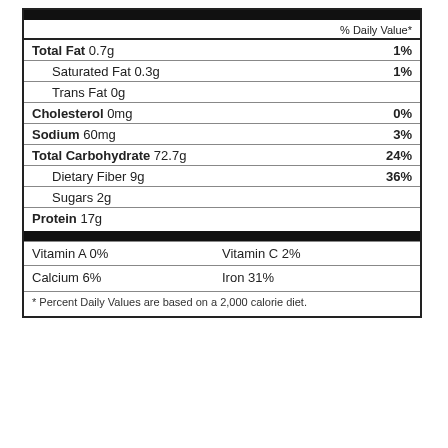| Nutrient | Amount | % Daily Value |
| --- | --- | --- |
| Total Fat | 0.7g | 1% |
| Saturated Fat | 0.3g | 1% |
| Trans Fat | 0g |  |
| Cholesterol | 0mg | 0% |
| Sodium | 60mg | 3% |
| Total Carbohydrate | 72.7g | 24% |
| Dietary Fiber | 9g | 36% |
| Sugars | 2g |  |
| Protein | 17g |  |
| Vitamin A | 0% |  |
| Vitamin C | 2% |  |
| Calcium | 6% |  |
| Iron | 31% |  |
* Percent Daily Values are based on a 2,000 calorie diet.